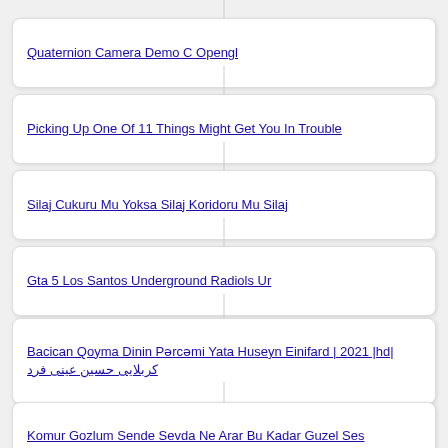Quaternion Camera Demo C Opengl
Picking Up One Of 11 Things Might Get You In Trouble
Silaj Cukuru Mu Yoksa Silaj Koridoru Mu Silaj
Gta 5 Los Santos Underground Radiols Ur
Bacican Qoyma Dinin Pərcəmi Yata Huseyn Einifard | 2021 |hd| کربلایی حسین عینی فرد
Komur Gozlum Sende Sevda Ne Arar Bu Kadar Guzel Ses